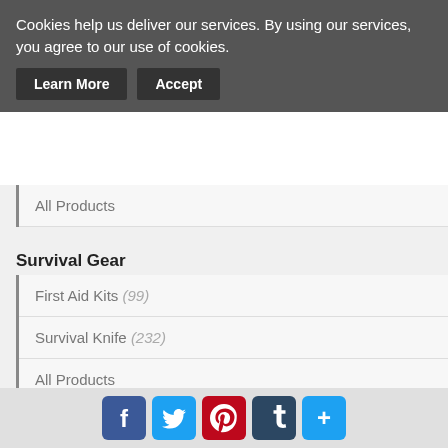Cookies help us deliver our services. By using our services, you agree to our use of cookies.
Learn More | Accept
All Products
Survival Gear
First Aid Kits (99)
Survival Knife (232)
All Products
Tactical Optics
Handgun Scope (276)
Laser Rangefinders (524)
Monoculars (136)
[Figure (infographic): Social media share buttons: Facebook, Twitter, Pinterest, Tumblr, and More (+)]